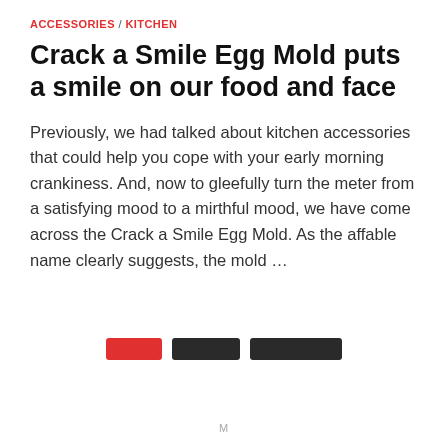ACCESSORIES / KITCHEN
Crack a Smile Egg Mold puts a smile on our food and face
Previously, we had talked about kitchen accessories that could help you cope with your early morning crankiness. And, now to gleefully turn the meter from a satisfying mood to a mirthful mood, we have come across the Crack a Smile Egg Mold. As the affable name clearly suggests, the mold …
[Figure (other): Three navigation buttons: a red button and two dark/black buttons arranged horizontally]
M